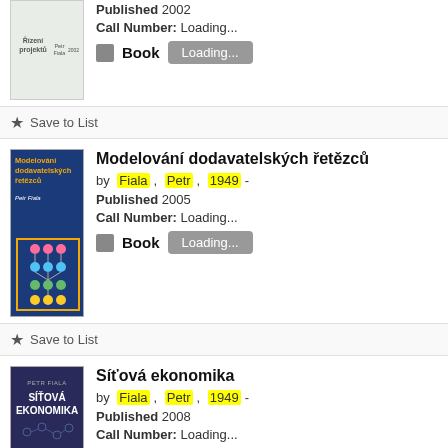[Figure (illustration): Book cover for 'Řízení projektů' with light green/marble background]
Published  2002
Call Number:  Loading...
Book  Loading...
Save to List
[Figure (illustration): Book cover for 'Modelování dodavatelských řetězců' with dark blue background, orange title, and network diagram with colored nodes]
Modelování dodavatelských řetězců
by  Fiala ,  Petr ,  1949 -
Published  2005
Call Number:  Loading...
Book  Loading...
Save to List
[Figure (illustration): Book cover for 'Síťová ekonomika' with dark purple background and white text]
Síťová ekonomika
by  Fiala ,  Petr ,  1949 -
Published  2008
Call Number:  Loading...